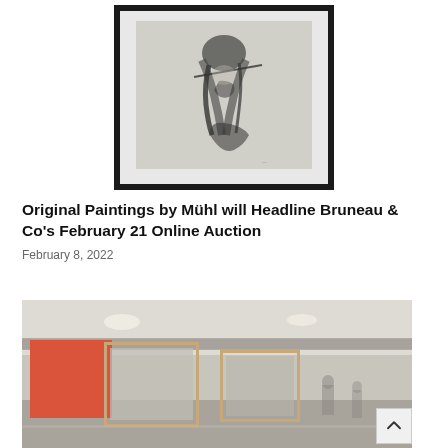[Figure (photo): A framed charcoal or ink drawing depicting a figure playing a stringed instrument (possibly a violin or cello), mounted in a black frame with white matting]
Original Paintings by Mühl will Headline Bruneau & Co's February 21 Online Auction
February 8, 2022
[Figure (photo): Interior photo of what appears to be an auction house or gallery space, showing geometric framed panels including an orange/coral colored panel and wooden frame structures, with a ceiling visible above]